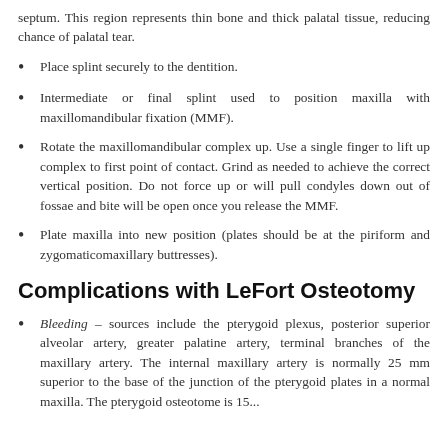septum. This region represents thin bone and thick palatal tissue, reducing chance of palatal tear.
Place splint securely to the dentition.
Intermediate or final splint used to position maxilla with maxillomandibular fixation (MMF).
Rotate the maxillomandibular complex up. Use a single finger to lift up complex to first point of contact. Grind as needed to achieve the correct vertical position. Do not force up or will pull condyles down out of fossae and bite will be open once you release the MMF.
Plate maxilla into new position (plates should be at the piriform and zygomaticomaxillary buttresses).
Complications with LeFort Osteotomy
Bleeding – sources include the pterygoid plexus, posterior superior alveolar artery, greater palatine artery, terminal branches of the maxillary artery. The internal maxillary artery is normally 25 mm superior to the base of the junction of the pterygoid plates in a normal maxilla. The pterygoid osteotome is 15...